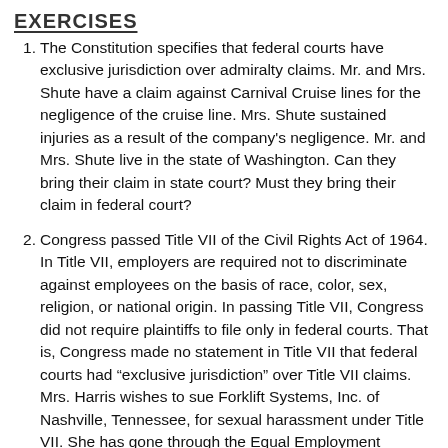The Constitution specifies that federal courts have exclusive jurisdiction over admiralty claims. Mr. and Mrs. Shute have a claim against Carnival Cruise lines for the negligence of the cruise line. Mrs. Shute sustained injuries as a result of the company's negligence. Mr. and Mrs. Shute live in the state of Washington. Can they bring their claim in state court? Must they bring their claim in federal court?
Congress passed Title VII of the Civil Rights Act of 1964. In Title VII, employers are required not to discriminate against employees on the basis of race, color, sex, religion, or national origin. In passing Title VII, Congress did not require plaintiffs to file only in federal courts. That is, Congress made no statement in Title VII that federal courts had "exclusive jurisdiction" over Title VII claims. Mrs. Harris wishes to sue Forklift Systems, Inc. of Nashville, Tennessee, for sexual harassment under Title VII. She has gone through the Equal Employment Opportunity Commission process and has a right-to-sue letter, which is required before a Title